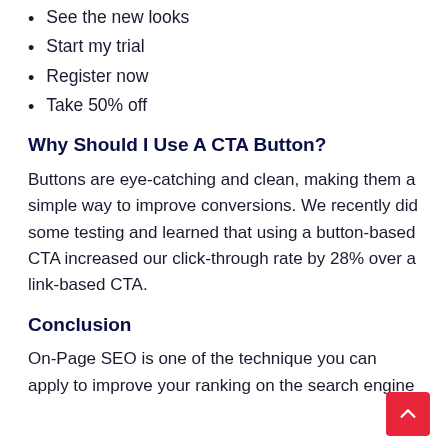See the new looks
Start my trial
Register now
Take 50% off
Why Should I Use A CTA Button?
Buttons are eye-catching and clean, making them a simple way to improve conversions. We recently did some testing and learned that using a button-based CTA increased our click-through rate by 28% over a link-based CTA.
Conclusion
On-Page SEO is one of the technique you can apply to improve your ranking on the search engine